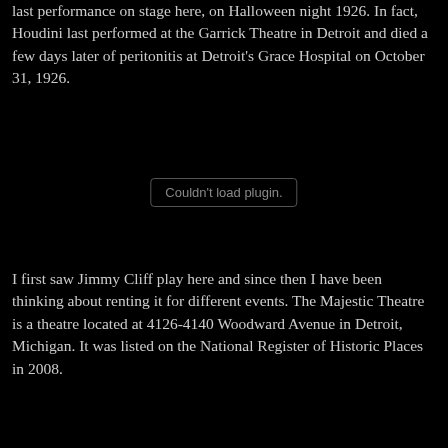last performance on stage here, on Halloween night 1926. In fact, Houdini last performed at the Garrick Theatre in Detroit and died a few days later of peritonitis at Detroit's Grace Hospital on October 31, 1926.
[Figure (other): Plugin placeholder area — 'Couldn't load plugin.' message displayed in a bordered box on a black background.]
I first saw Jimmy Cliff play here and since then I have been thinking about renting it for different events. The Majestic Theatre is a theatre located at 4126-4140 Woodward Avenue in Detroit, Michigan. It was listed on the National Register of Historic Places in 2008.